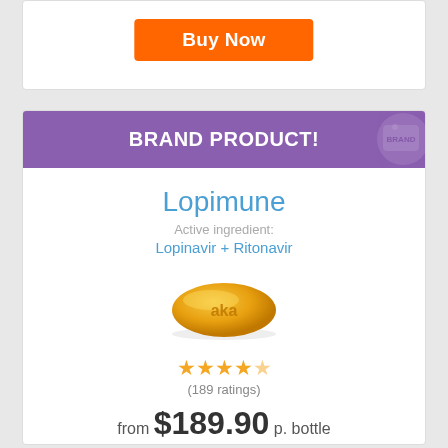[Figure (other): Orange 'Buy Now' button at the top of a product card (partially visible)]
BRAND PRODUCT!
Lopimune
Active ingredient:
Lopinavir + Ritonavir
[Figure (photo): Yellow-orange oval pill with 'aka' text on it]
★★★★★ (189 ratings)
from $189.90 p. bottle
[Figure (other): Orange 'Buy Now' button partially visible at the bottom]